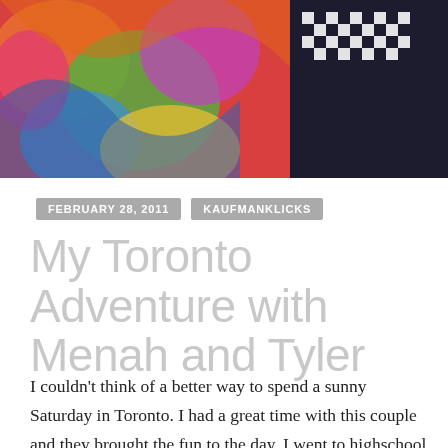[Figure (photo): Colorful mural background with a person wearing a black jacket and checkered scarf on the right side]
FEBRUARY 28, 2011   KAUFMANKLICKS
My Toronto Adventure with Menah and Tyler
I couldn't think of a better way to spend a sunny Saturday in Toronto.  I had a great time with this couple and they brought the fun to the day. I went to highschool with these two and it was great to get caught up and see them again after so many years. I laughed so hard